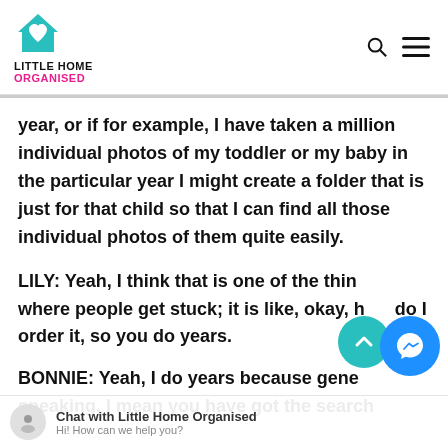LITTLE HOME ORGANISED
year, or if for example, I have taken a million individual photos of my toddler or my baby in the particular year I might create a folder that is just for that child so that I can find all those individual photos of them quite easily.
LILY: Yeah, I think that is one of the things where people get stuck; it is like, okay, how do I order it, so you do years.
BONNIE: Yeah, I do years because generally speaking, I mean you have got the search